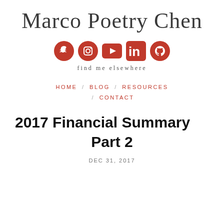Marco Poetry Chen
[Figure (illustration): Row of five social media icons (Snapchat, Instagram, YouTube, LinkedIn, GitHub) in red circles/rounded squares]
find me elsewhere
HOME / BLOG / RESOURCES / CONTACT
2017 Financial Summary Part 2
DEC 31, 2017